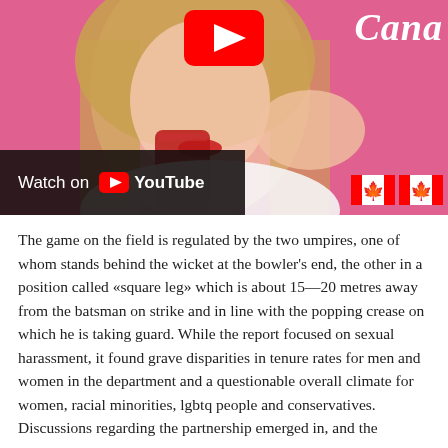[Figure (screenshot): YouTube video thumbnail showing a woman with long blonde hair, red lips, holding a red can, with Canadian flag emojis visible. A dark overlay bar reads 'Watch on YouTube' with the YouTube logo. Top right shows cursive text 'Cana...' in white on pink background.]
The game on the field is regulated by the two umpires, one of whom stands behind the wicket at the bowler's end, the other in a position called «square leg» which is about 15—20 metres away from the batsman on strike and in line with the popping crease on which he is taking guard. While the report focused on sexual harassment, it found grave disparities in tenure rates for men and women in the department and a questionable overall climate for women, racial minorities, lgbtq people and conservatives. Discussions regarding the partnership emerged in, and the